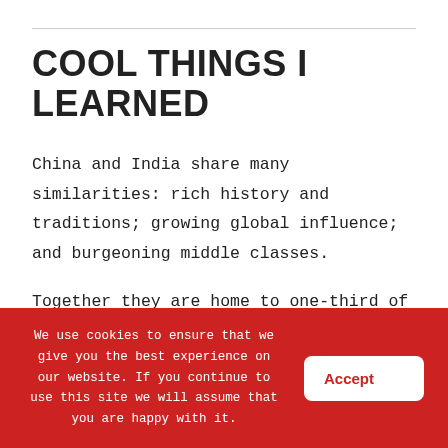COOL THINGS I LEARNED
China and India share many similarities: rich history and traditions; growing global influence; and burgeoning middle classes.
Together they are home to one-third of the world’s megacities.
But they differ in one significant area: demographics.
We use cookies to ensure that we give you the best experience on our website. If you continue to use this site we will assume that you are happy with it.